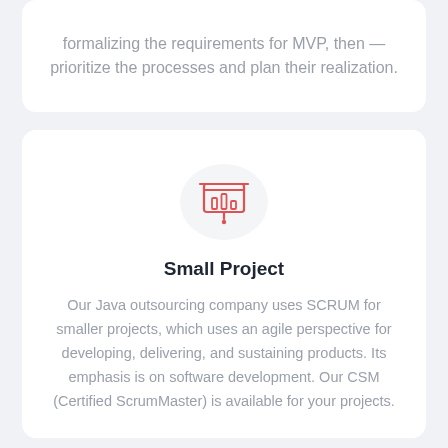formalizing the requirements for MVP, then — prioritize the processes and plan their realization.
[Figure (illustration): Red presentation board icon with bar chart inside and a hanging dot below, inside a light gray circle]
Small Project
Our Java outsourcing company uses SCRUM for smaller projects, which uses an agile perspective for developing, delivering, and sustaining products. Its emphasis is on software development. Our CSM (Certified ScrumMaster) is available for your projects.